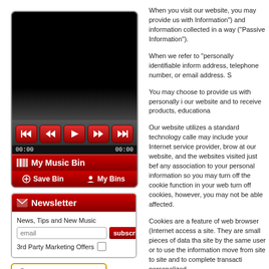[Figure (screenshot): Music player widget with black screen, red playback control buttons (skip back, rewind, play, fast-forward, skip forward), time display 00:00 / 00:00, My Music Bin bar with barcode icon, Save Bin and My Bins buttons]
[Figure (screenshot): Newsletter signup widget with red header, email input field, subscribe button, and 3rd Party Marketing Offers checkbox]
[Figure (screenshot): Secured by badge with padlock icon and text SECURED BY]
When you visit our website, you may provide us with Information") and information collected in a way ("Passive Information").
When we refer to "personally identifiable inform address, telephone number, or email address. S
You may choose to provide us with personally i our website and to receive products, educationa
Our website utilizes a standard technology calle may include your Internet service provider, bro at our website, and the websites visited just bef any association to your personal information so you may turn off the cookie function in your web turn off cookies, however, you may not be able affected.
Cookies are a feature of web browser (Internet access a site. They are small pieces of data tha site by the same user or to use the information move from site to site and to complete transacti personalized.